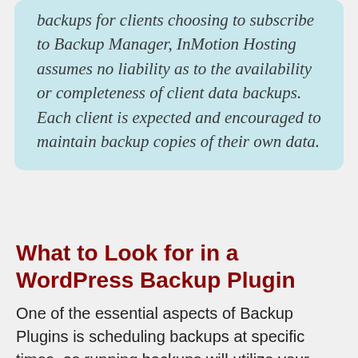backups for clients choosing to subscribe to Backup Manager, InMotion Hosting assumes no liability as to the availability or completeness of client data backups. Each client is expected and encouraged to maintain backup copies of their own data.
What to Look for in a WordPress Backup Plugin
One of the essential aspects of Backup Plugins is scheduling backups at specific times, as running backups will utilize your server's resources. We recommend scheduling backups during times your site has the least activity for...